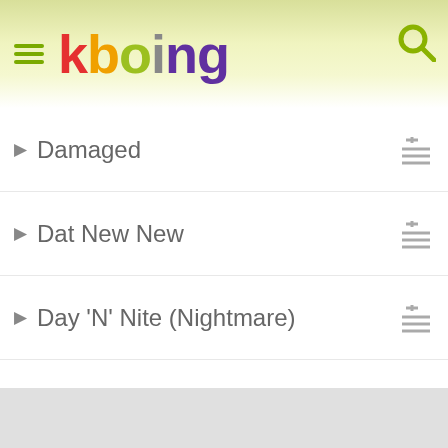kboing
Damaged
Dat New New
Day 'N' Nite (Nightmare)
Day 'n' Nite (feat. Crookers)
Destination Mother Moon
Dive